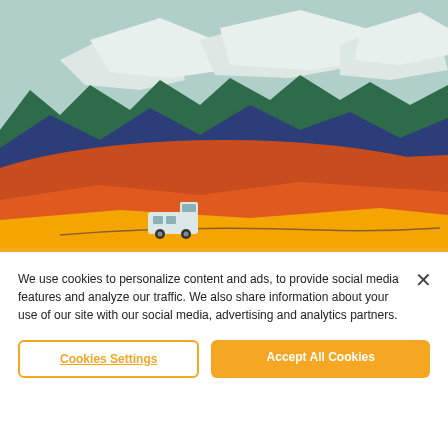[Figure (illustration): Colorful flat illustration of a desert landscape with layered hills in orange, yellow, navy blue, and green. White cloud shapes in a light teal sky. A white van/truck on a road in the foreground.]
We use cookies to personalize content and ads, to provide social media features and analyze our traffic. We also share information about your use of our site with our social media, advertising and analytics partners.
Cookies Settings
Accept All Cookies